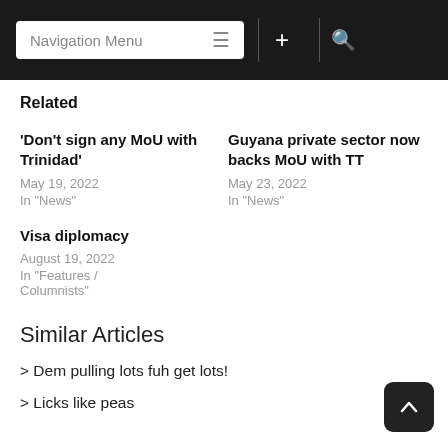Navigation Menu
Related
'Don't sign any MoU with Trinidad'
May 19, 2022
In "News"
Guyana private sector now backs MoU with TT
May 23, 2022
In "News"
Visa diplomacy
August 19, 2022
In "Features / Columnists"
Similar Articles
> Dem pulling lots fuh get lots!
> Licks like peas